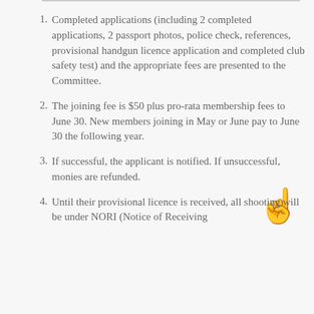Completed applications (including 2 completed applications, 2 passport photos, police check, references, provisional handgun licence application and completed club safety test) and the appropriate fees are presented to the Committee.
The joining fee is $50 plus pro-rata membership fees to June 30. New members joining in May or June pay to June 30 the following year.
If successful, the applicant is notified. If unsuccessful, monies are refunded.
Until their provisional licence is received, all shooting will be under NORI (Notice of Receiving...